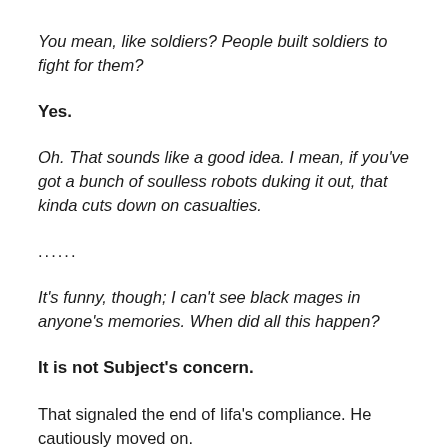You mean, like soldiers? People built soldiers to fight for them?
Yes.
Oh. That sounds like a good idea. I mean, if you've got a bunch of soulless robots duking it out, that kinda cuts down on casualties.
......
It's funny, though; I can't see black mages in anyone's memories. When did all this happen?
It is not Subject's concern.
That signaled the end of Iifa's compliance. He cautiously moved on.